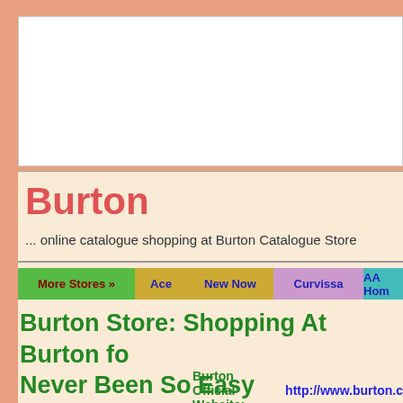[Figure (other): White advertisement/banner box at top of page]
Burton
... online catalogue shopping at Burton Catalogue Store
More Stores »  Ace  New Now  Curvissa  AA Hom
Burton Store: Shopping At Burton fo Never Been So Easy
Burton Official Website:   http://www.burton.c
Besides sharp looking jackets, and brand-name sui for Burton too, and you'll always find the classic w outwear, socks and underwear at Burton online registering to receive the Burton UK e-newsletter a win £100 gift card (this varies), and Burton Mensw